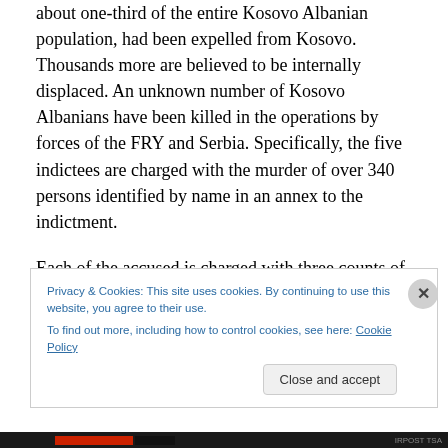about one-third of the entire Kosovo Albanian population, had been expelled from Kosovo. Thousands more are believed to be internally displaced. An unknown number of Kosovo Albanians have been killed in the operations by forces of the FRY and Serbia. Specifically, the five indictees are charged with the murder of over 340 persons identified by name in an annex to the indictment.
Each of the accused is charged with three counts of crimes against humanity and one count of violations of the laws or customs of war."
Privacy & Cookies: This site uses cookies. By continuing to use this website, you agree to their use.
To find out more, including how to control cookies, see here: Cookie Policy